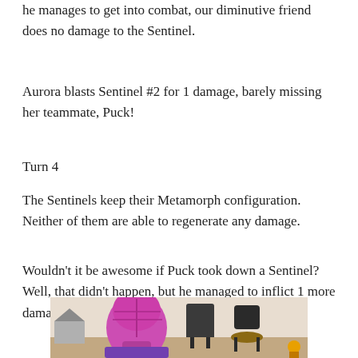he manages to get into combat, our diminutive friend does no damage to the Sentinel.
Aurora blasts Sentinel #2 for 1 damage, barely missing her teammate, Puck!
Turn 4
The Sentinels keep their Metamorph configuration. Neither of them are able to regenerate any damage.
Wouldn't it be awesome if Puck took down a Sentinel? Well, that didn't happen, but he managed to inflict 1 more damage on Sentinel #2.
[Figure (photo): A pink-helmeted figure (Sentinel robot toy) photographed from behind, with chairs and a small house model visible in the background.]